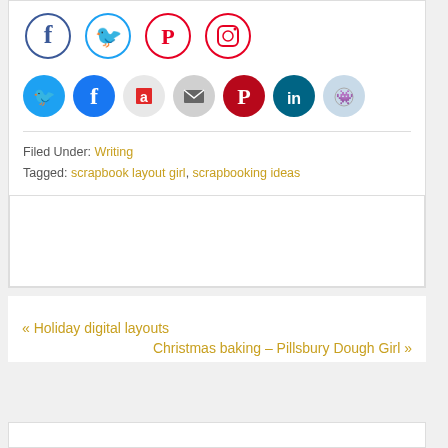[Figure (infographic): Social media icons row 1: Facebook (blue circle outline), Twitter (light blue circle outline), Pinterest (red circle outline), Instagram (red circle outline)]
[Figure (infographic): Social media share buttons row 2: Twitter (cyan filled), Facebook (blue filled), Flipboard (red filled), Email (gray filled), Pinterest (red filled), LinkedIn (teal filled), Reddit (light blue filled)]
Filed Under: Writing
Tagged: scrapbook layout girl, scrapbooking ideas
« Holiday digital layouts
Christmas baking – Pillsbury Dough Girl »